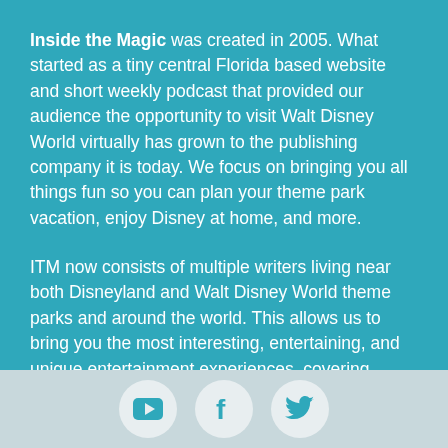Inside the Magic was created in 2005. What started as a tiny central Florida based website and short weekly podcast that provided our audience the opportunity to visit Walt Disney World virtually has grown to the publishing company it is today. We focus on bringing you all things fun so you can plan your theme park vacation, enjoy Disney at home, and more.
ITM now consists of multiple writers living near both Disneyland and Walt Disney World theme parks and around the world. This allows us to bring you the most interesting, entertaining, and unique entertainment experiences, covering theme parks, movies, TV, video games, special events and so much more.
[Figure (illustration): Three social media icons (YouTube, Facebook, Twitter) as white circular buttons on a light gray-blue footer background.]